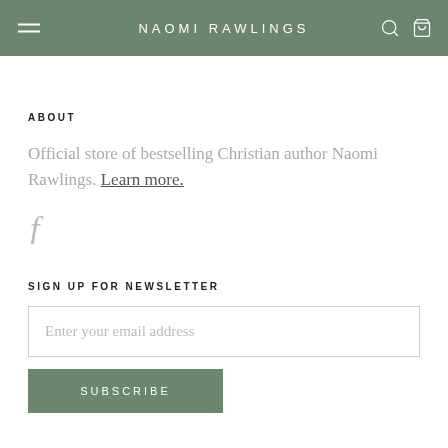NAOMI RAWLINGS
ABOUT
Official store of bestselling Christian author Naomi Rawlings. Learn more.
[Figure (logo): Facebook icon (f)]
SIGN UP FOR NEWSLETTER
Enter your email address
SUBSCRIBE